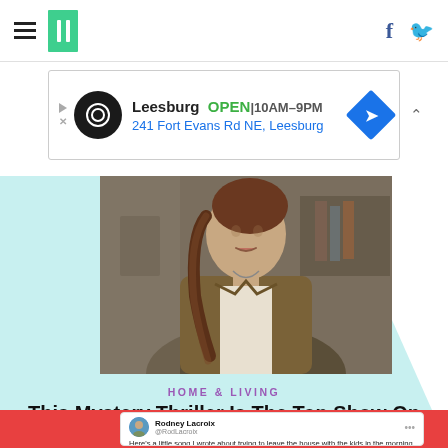HuffPost navigation with hamburger menu, logo, Facebook and Twitter icons
[Figure (screenshot): Advertisement banner: Leesburg OPEN 10AM-9PM, 241 Fort Evans Rd NE, Leesburg]
[Figure (photo): Woman with braided hair wearing a brown suede jacket, speaking or reacting, indoor background]
HOME & LIVING
This Mystery Thriller Is The Top Show On Netflix Right Now
[Figure (screenshot): Tweet by Rodney Lacroix (@RodLacroix): Here's a little song I wrote about trying to leave the house with the kids in the morning it's called]